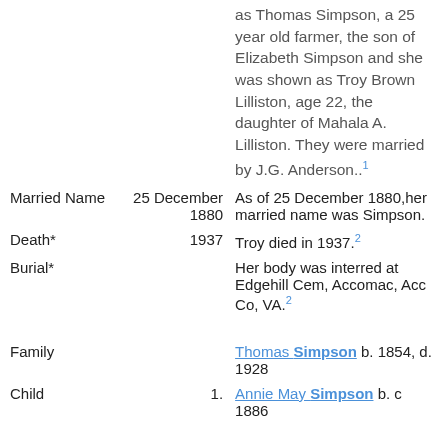as Thomas Simpson, a 25 year old farmer, the son of Elizabeth Simpson and she was shown as Troy Brown Lilliston, age 22, the daughter of Mahala A. Lilliston. They were married by J.G. Anderson..1
| Event | Date | Description |
| --- | --- | --- |
| Married Name | 25 December 1880 | As of 25 December 1880,her married name was Simpson. |
| Death* | 1937 | Troy died in 1937.2 |
| Burial* |  | Her body was interred at Edgehill Cem, Accomac, Acc Co, VA.2 |
| Family |  | Thomas Simpson b. 1854, d. 1928 |
| Child | 1. | Annie May Simpson b. c 1886 |